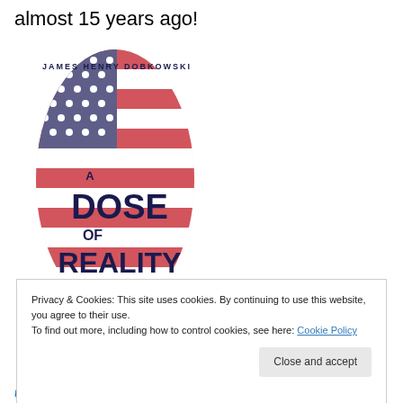almost 15 years ago!
[Figure (illustration): Book cover for 'A Dose of Reality' by James Henry Dobkowski, featuring a side profile of a head filled with American flag colors (stars and stripes in red, white, blue). Text on cover: 'JAMES HENRY DOBKOWSKI', 'A DOSE OF REALITY', 'THE STORY HOLLYWOOD SAID COULD NEVER HAPPEN ... UNTIL IT DID!']
Privacy & Cookies: This site uses cookies. By continuing to use this website, you agree to their use.
To find out more, including how to control cookies, see here: Cookie Policy
Close and accept
the Soul, The Christmas Save and two children's books: The